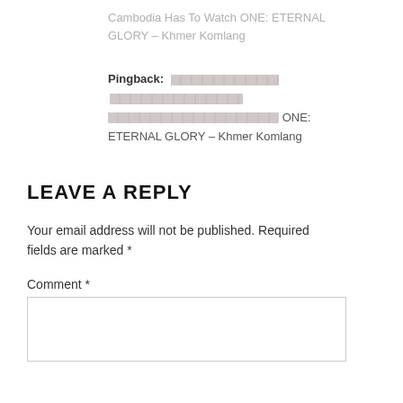Cambodia Has To Watch ONE: ETERNAL GLORY – Khmer Komlang
Pingback: [redacted link] ONE: ETERNAL GLORY – Khmer Komlang
LEAVE A REPLY
Your email address will not be published. Required fields are marked *
Comment *